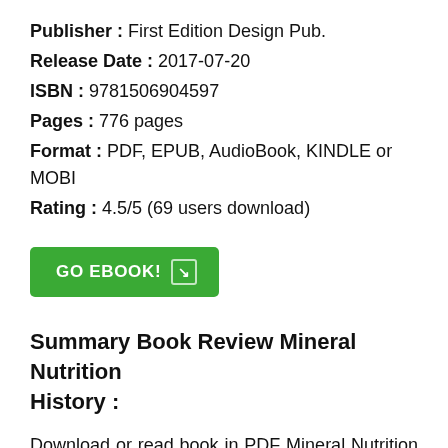Publisher : First Edition Design Pub.
Release Date : 2017-07-20
ISBN : 9781506904597
Pages : 776 pages
Format : PDF, EPUB, AudioBook, KINDLE or MOBI
Rating : 4.5/5 (69 users download)
[Figure (other): Green button labeled GO EBOOK! with arrow icon]
Summary Book Review Mineral Nutrition History :
Download or read book in PDF Mineral Nutrition History written by Lee McDowell and published by First Edition Design Pub.